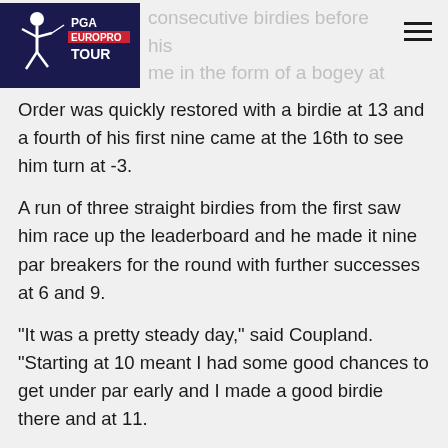PGA EuroPro Tour [logo] | consecutive birdies before his ... came in the form of a bogey at ...
Order was quickly restored with a birdie at 13 and a fourth of his first nine came at the 16th to see him turn at -3.
A run of three straight birdies from the first saw him race up the leaderboard and he made it nine par breakers for the round with further successes at 6 and 9.
“It was a pretty steady day,” said Coupland. “Starting at 10 meant I had some good chances to get under par early and I made a good birdie there and at 11.